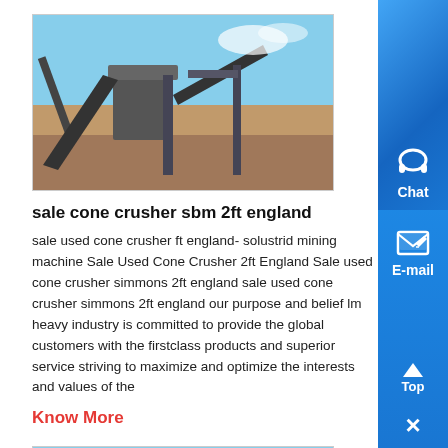[Figure (photo): Mining crusher machinery at a quarry site with orange/brown sandy ground and blue sky. ZENIT watermark visible in blue text.]
sale cone crusher sbm 2ft england
sale used cone crusher ft england- solustrid mining machine Sale Used Cone Crusher 2ft England Sale used cone crusher simmons 2ft england sale used cone crusher simmons 2ft england our purpose and belief lm heavy industry is committed to provide the global customers with the firstclass products and superior service striving to maximize and optimize the interests and values of the
Know More
[Figure (photo): Industrial structure or construction machinery with scaffolding/framework, partial view at bottom of page.]